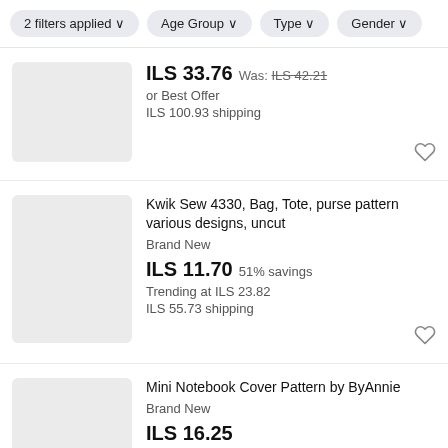2 filters applied   Age Group   Type   Gender
ILS 33.76  Was: ILS 42.21
or Best Offer
ILS 100.93 shipping
Kwik Sew 4330, Bag, Tote, purse pattern various designs, uncut
Brand New
ILS 11.70  51% savings
Trending at ILS 23.82
ILS 55.73 shipping
Mini Notebook Cover Pattern by ByAnnie
Brand New
ILS 16.25
ILS 17.55 shipping
Only 1 left!